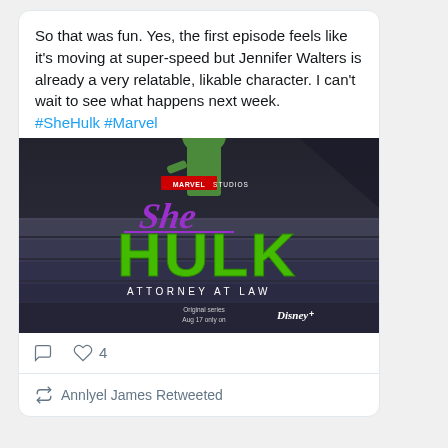So that was fun. Yes, the first episode feels like it's moving at super-speed but Jennifer Walters is already a very relatable, likable character. I can't wait to see what happens next week. #SheHulk #Marvel
[Figure (photo): She-Hulk: Attorney at Law promotional poster from Marvel Studios. Shows the logo with 'MARVEL STUDIOS' at top, purple cursive 'She' text, green bold 'HULK' text, 'ATTORNEY AT LAW' subtitle, and 'Original series Aug 17 only on Disney+' text. Background is dark grey/blue architectural steps with a green figure visible at top.]
4 likes
Annlyel James Retweeted